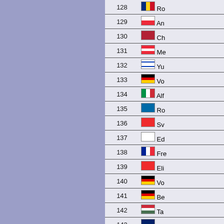| Rank | Flag | Name (truncated) |
| --- | --- | --- |
| 128 | Ro... |
| 129 | An... |
| 130 | Ch... |
| 131 | Me... |
| 132 | Yu... |
| 133 | Vo... |
| 134 | Alf... |
| 135 | Ro... |
| 136 | Sv... |
| 137 | Ed... |
| 138 | Fre... |
| 139 | Eli... |
| 140 | Vo... |
| 141 | Be... |
| 142 | Ta... |
| 143 | Pe... |
| 144 | Th... |
| 145 | Hü... |
| 146 | Ale... |
| 147 | Ara... |
| 148 | Em... |
| 149 | Le... |